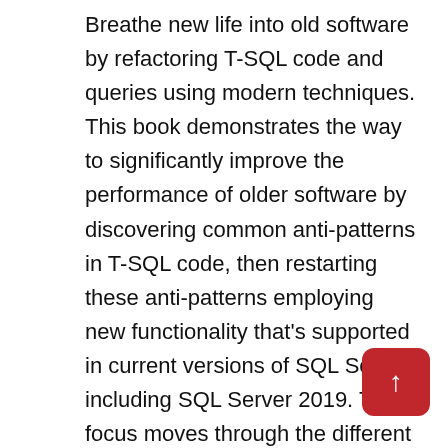Breathe new life into old software by refactoring T-SQL code and queries using modern techniques. This book demonstrates the way to significantly improve the performance of older software by discovering common anti-patterns in T-SQL code, then restarting these anti-patterns employing new functionality that's supported in current versions of SQL Server, including SQL Server 2019. The focus moves through the different kinds of database objects and the code used to create them discussing the constraints and anti-patterns usually found for each item type in your own database.
Legacy code isn't only found in questions and external applications. It's also found in the defin of underlying database objects such as tables a views. This book makes it possible to quickly locate